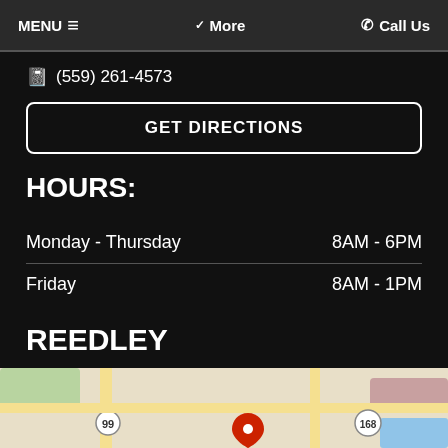MENU ≡   ✓ More   ☎ Call Us
📋 (559) 261-4573
GET DIRECTIONS
HOURS:
| Day | Hours |
| --- | --- |
| Monday - Thursday | 8AM - 6PM |
| Friday | 8AM - 1PM |
REEDLEY
Coming Soon...
[Figure (map): Street map showing roads including routes 99 and 168 with a red location marker]